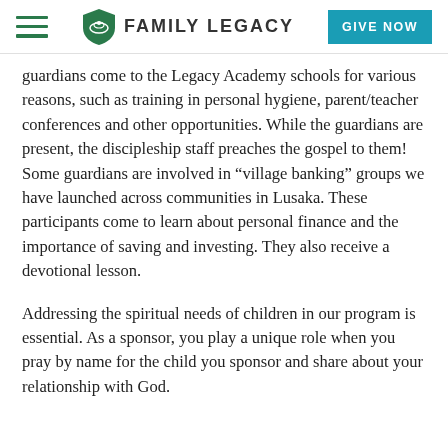FAMILY LEGACY | GIVE NOW
guardians come to the Legacy Academy schools for various reasons, such as training in personal hygiene, parent/teacher conferences and other opportunities. While the guardians are present, the discipleship staff preaches the gospel to them! Some guardians are involved in “village banking” groups we have launched across communities in Lusaka. These participants come to learn about personal finance and the importance of saving and investing. They also receive a devotional lesson.
Addressing the spiritual needs of children in our program is essential. As a sponsor, you play a unique role when you pray by name for the child you sponsor and share about your relationship with God.